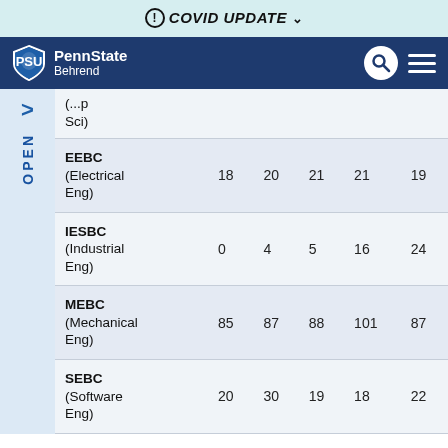! COVID UPDATE v
[Figure (logo): Penn State Behrend logo with search and hamburger menu icons on dark navy navigation bar]
| Program | Col1 | Col2 | Col3 | Col4 | Col5 |
| --- | --- | --- | --- | --- | --- |
| (...p Sci) |  |  |  |  |  |
| EEBC (Electrical Eng) | 18 | 20 | 21 | 21 | 19 |
| IESBC (Industrial Eng) | 0 | 4 | 5 | 16 | 24 |
| MEBC (Mechanical Eng) | 85 | 87 | 88 | 101 | 87 |
| SEBC (Software Eng) | 20 | 30 | 19 | 18 | 22 |